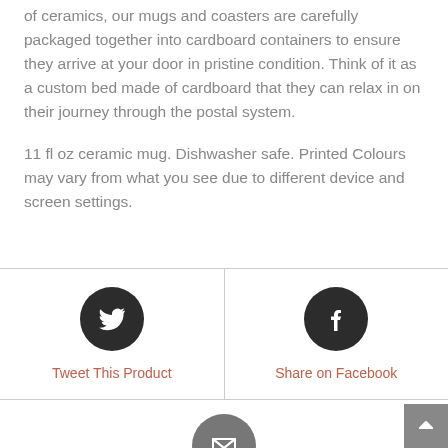of ceramics, our mugs and coasters are carefully packaged together into cardboard containers to ensure they arrive at your door in pristine condition. Think of it as a custom bed made of cardboard that they can relax in on their journey through the postal system.
11 fl oz ceramic mug. Dishwasher safe. Printed Colours may vary from what you see due to different device and screen settings.
[Figure (infographic): Twitter icon (white bird on dark circle) with 'Tweet This Product' link in orange/salmon color]
[Figure (infographic): Facebook icon (white f on dark circle) with 'Share on Facebook' link in orange/salmon color]
[Figure (infographic): Email/envelope icon (white envelope on gray circle) partially visible at bottom]